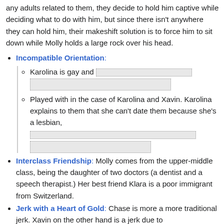any adults related to them, they decide to hold him captive while deciding what to do with him, but since there isn't anywhere they can hold him, their makeshift solution is to force him to sit down while Molly holds a large rock over his head.
Incompatible Orientation:
Karolina is gay and [redacted]
Played with in the case of Karolina and Xavin. Karolina explains to them that she can't date them because she's a lesbian, [redacted]
Interclass Friendship: Molly comes from the upper-middle class, being the daughter of two doctors (a dentist and a speech therapist.) Her best friend Klara is a poor immigrant from Switzerland.
Jerk with a Heart of Gold: Chase is more a more traditional jerk. Xavin on the other hand is a jerk due to